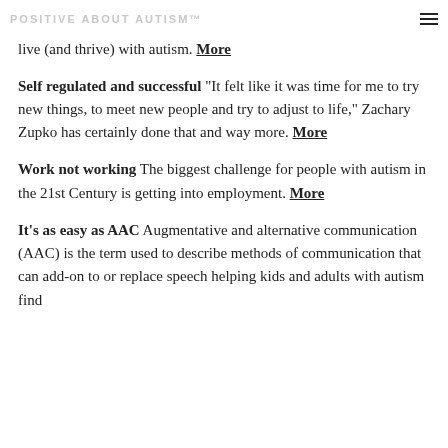POSITIVE ABOUT AUTISM™
live (and thrive) with autism. More
Self regulated and successful "It felt like it was time for me to try new things, to meet new people and try to adjust to life," Zachary Zupko has certainly done that and way more. More
Work not working The biggest challenge for people with autism in the 21st Century is getting into employment. More
It's as easy as AAC Augmentative and alternative communication (AAC) is the term used to describe methods of communication that can add-on to or replace speech helping kids and adults with autism find